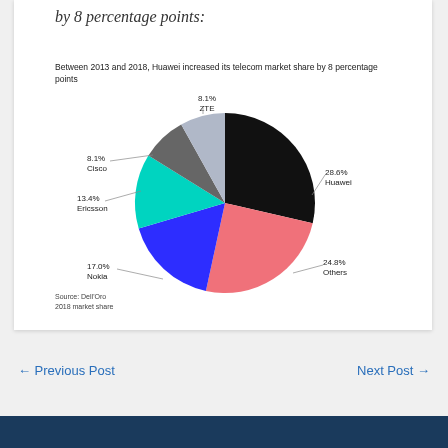by 8 percentage points:
Between 2013 and 2018, Huawei increased its telecom market share by 8 percentage points
[Figure (pie-chart): Telecom market share 2018]
Source: Dell'Oro 2018 market share
← Previous Post    Next Post →